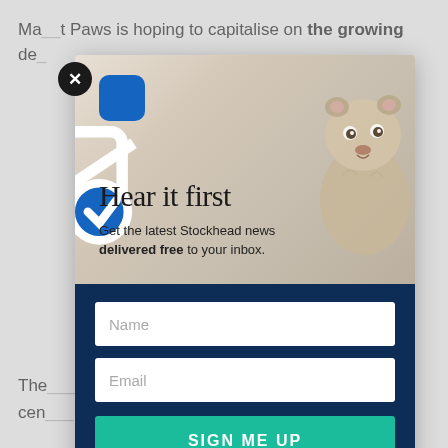Ma_t Paws is hoping to capitalise on the growing de_...
[Figure (screenshot): Email newsletter signup modal popup overlay. Top section has a beige/tan background with a groundhog illustration on the right, a blue email icon on the upper left, and text 'Hear it first' with subtext 'Get the latest Stockhead news delivered free to your inbox.' Bottom section is dark navy blue with Name and Email input fields and a teal SIGN ME UP button.]
The_... _per cen_...